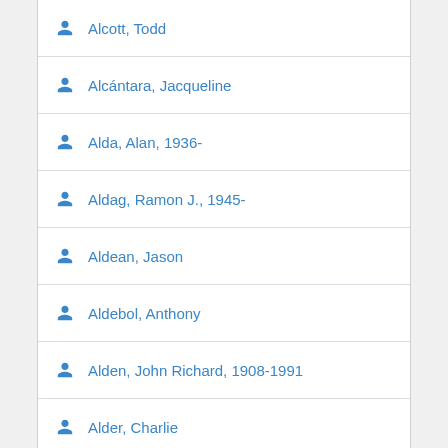Alcott, Todd
Alcántara, Jacqueline
Alda, Alan, 1936-
Aldag, Ramon J., 1945-
Aldean, Jason
Aldebol, Anthony
Alden, John Richard, 1908-1991
Alder, Charlie
Alderfer, Jonathan K
Alderman, Ellen
Alderman, Naomi